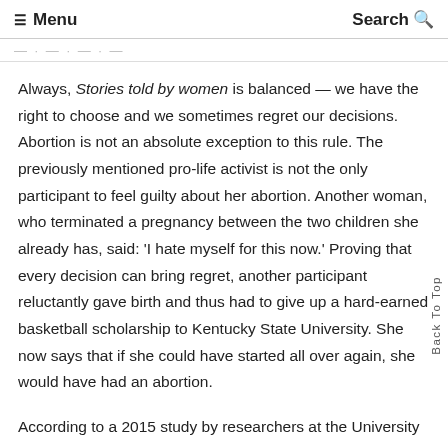☰ Menu   Search 🔍
Always, Stories told by women is balanced — we have the right to choose and we sometimes regret our decisions. Abortion is not an absolute exception to this rule. The previously mentioned pro-life activist is not the only participant to feel guilty about her abortion. Another woman, who terminated a pregnancy between the two children she already has, said: 'I hate myself for this now.' Proving that every decision can bring regret, another participant reluctantly gave birth and thus had to give up a hard-earned basketball scholarship to Kentucky State University. She now says that if she could have started all over again, she would have had an abortion.
According to a 2015 study by researchers at the University of California, San Francisco, 95% of women have no regrets about having an abortion. Yet I give Stories told by women deserves to